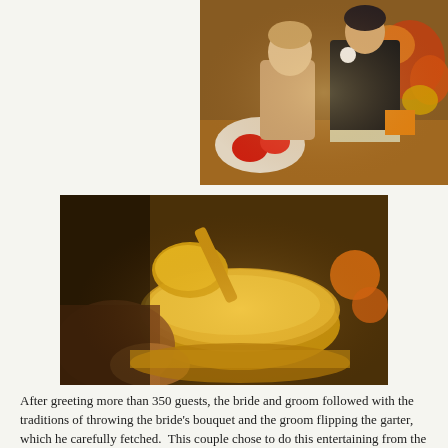[Figure (photo): A young boy and an older woman in black with a corsage at a wedding reception buffet table with colorful floral decorations, fruits and vegetables.]
[Figure (photo): Close-up of hands serving food with a ladle into a dish at a wedding reception buffet, warm golden tones.]
After greeting more than 350 guests, the bride and groom followed with the traditions of throwing the bride's bouquet and the groom flipping the garter, which he carefully fetched.  This couple chose to do this entertaining from the balcony!  Not all Salt Lake City wedding venues